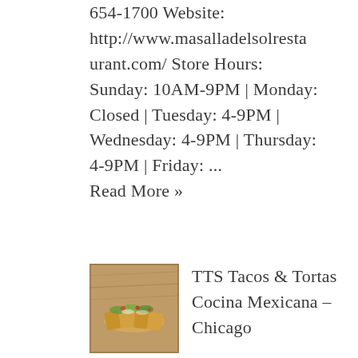654-1700 Website: http://www.masalladelsolrestaurant.com/ Store Hours: Sunday: 10AM-9PM | Monday: Closed | Tuesday: 4-9PM | Wednesday: 4-9PM | Thursday: 4-9PM | Friday: ...
Read More »
[Figure (photo): Photo of tacos/Mexican food on a wooden board, showing rolled tacos with toppings including green herbs and tomatoes]
TTS Tacos & Tortas Cocina Mexicana – Chicago